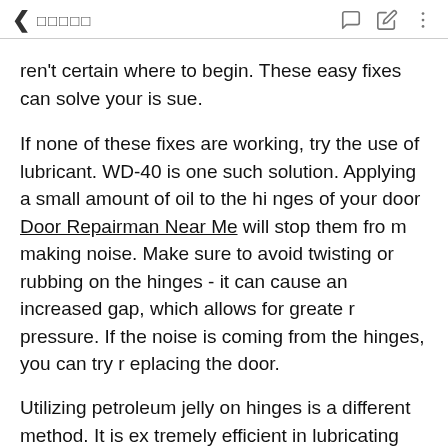< □□□□□
ren't certain where to begin. These easy fixes can solve your issue.
If none of these fixes are working, try the use of lubricant. WD-40 is one such solution. Applying a small amount of oil to the hinges of your door Door Repairman Near Me will stop them from making noise. Make sure to avoid twisting or rubbing on the hinges - it can cause an increased gap, which allows for greater pressure. If the noise is coming from the hinges, you can try replacing the door.
Utilizing petroleum jelly on hinges is a different method. It is extremely efficient in lubricating hinges and Door repairman Near Me leaves no residue. The lubricant must be applied directly to the hinge pin and not to the frame of the door. After applying the lubricant move the door around several times to force it into t